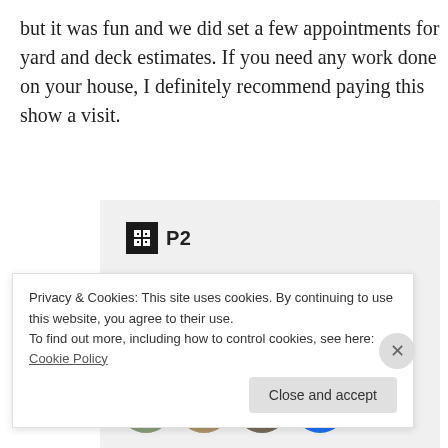but it was fun and we did set a few appointments for yard and deck estimates. If you need any work done on your house, I definitely recommend paying this show a visit.
[Figure (screenshot): P2 advertisement banner with logo, headline 'Getting your team on the same page is easy. And free.' and circular avatar photos of team members.]
Privacy & Cookies: This site uses cookies. By continuing to use this website, you agree to their use.
To find out more, including how to control cookies, see here: Cookie Policy
Close and accept